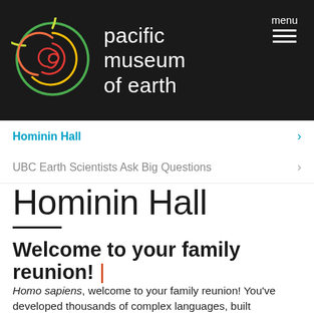[Figure (logo): Pacific Museum of Earth logo — concentric circular swirls in green, yellow, orange, and red on dark background]
pacific museum of earth
Hominin Hall >
UBC Earth Scientists Ask Big Questions >
Hominin Hall
Welcome to your family reunion! |
Homo sapiens, welcome to your family reunion! You've developed thousands of complex languages, built enormous cities to house your people, and changed